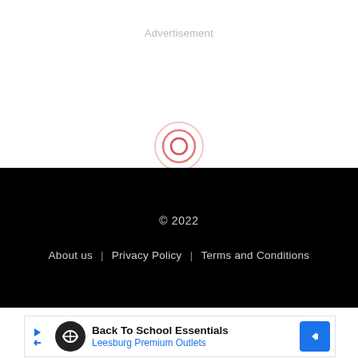Advertisement
[Figure (other): Loading spinner — two concentric pink/red circles indicating a loading state]
© 2022
About us | Privacy Policy | Terms and Conditions
[Figure (other): Advertisement banner: Back To School Essentials — Leesburg Premium Outlets, with logo and navigation arrow icon]